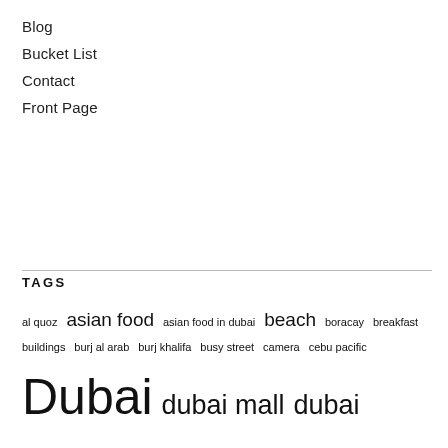Blog
Bucket List
Contact
Front Page
TAGS
al quoz asian food asian food in dubai beach boracay breakfast buildings burj al arab burj khalifa busy street camera cebu pacific Dubai dubai mall dubai marina Filipino food foodie foodies gopro hotels in abu dhabi instagram inverness japanese karama madinat jumeirah mall of the emirates middle east park rotana abu dhabi philippines photography pug road Scotland